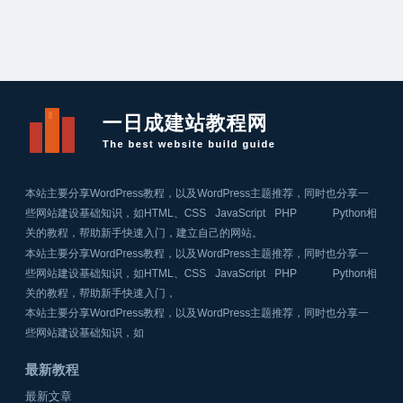[Figure (logo): Orange building/tower logo icon with three geometric tower shapes in orange/red color]
一日成建站教程网
The best website build guide
本站主要分享WordPress教程，以及WordPress主题推荐，同时也分享一些网站建设基础知识，如HTML、CSS、JavaScript、PHP等，偶尔也分享Python相关的教程，帮助新手快速入门，建立自己的网站。
最新教程
最新文章
最新评论